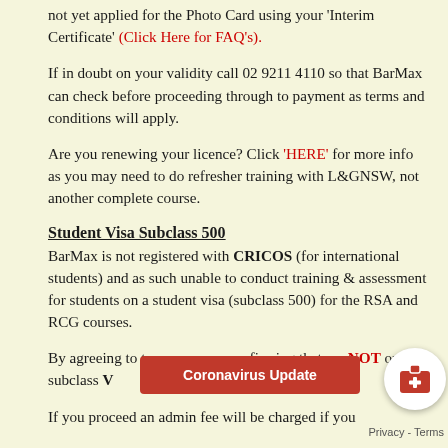not yet applied for the Photo Card using your 'Interim Certificate' (Click Here for FAQ's).
If in doubt on your validity call 02 9211 4110 so that BarMax can check before proceeding through to payment as terms and conditions will apply.
Are you renewing your licence? Click 'HERE' for more info as you may need to do refresher training with L&GNSW, not another complete course.
Student Visa Subclass 500
BarMax is not registered with CRICOS (for international students) and as such unable to conduct training & assessment for students on a student visa (subclass 500) for the RSA and RCG courses.
By agreeing to terms you are confirming that you are NOT on a subclass V...
If you proceed an admin fee will be charged if you...